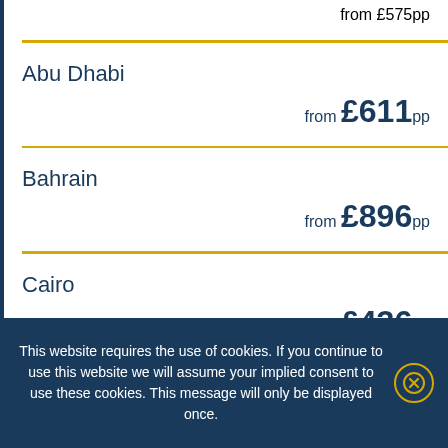from £575pp
Abu Dhabi — from £611pp
Bahrain — from £896pp
Cairo — from £436pp
Amman
Doha — from £680pp (partial)
This website requires the use of cookies. If you continue to use this website we will assume your implied consent to use these cookies. This message will only be displayed once.